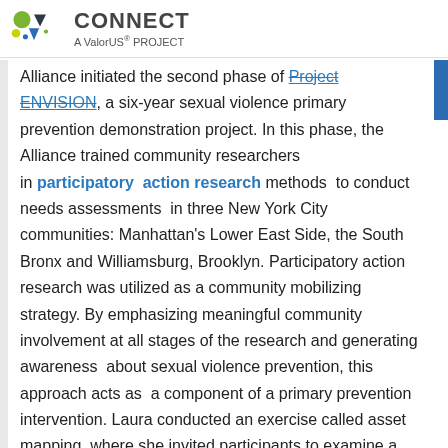CONNECT A ValorUS PROJECT
Alliance initiated the second phase of Project ENVISION, a six-year sexual violence primary prevention demonstration project. In this phase, the Alliance trained community researchers in participatory action research methods to conduct needs assessments in three New York City communities: Manhattan's Lower East Side, the South Bronx and Williamsburg, Brooklyn. Participatory action research was utilized as a community mobilizing strategy. By emphasizing meaningful community involvement at all stages of the research and generating awareness about sexual violence prevention, this approach acts as a component of a primary prevention intervention. Laura conducted an exercise called asset mapping, where she invited participants to examine a map of the Lower East Side and determine how they would locate and identify a